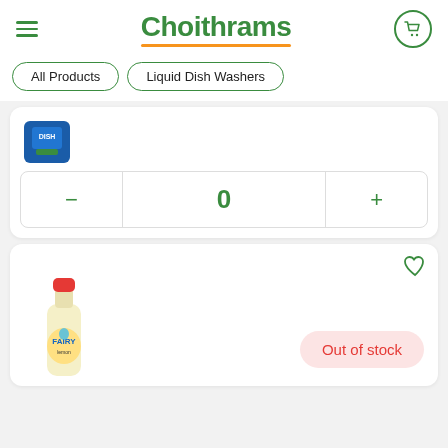Choithrams
All Products
Liquid Dish Washers
[Figure (photo): Green dish washing product container, partially visible]
0
[Figure (photo): Fairy lemon dish washing liquid bottle]
Out of stock